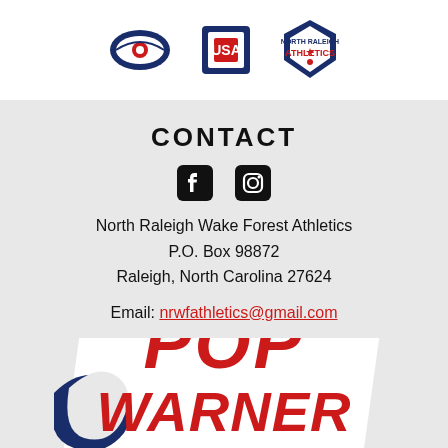[Figure (logo): Three sports organization logos at the top of the page on white background]
CONTACT
[Figure (illustration): Facebook and Instagram social media icons]
North Raleigh Wake Forest Athletics
P.O. Box 98872
Raleigh, North Carolina 27624
Email: nrwfathletics@gmail.com
[Figure (logo): Pop Warner youth sports organization logo with red italic text on white banner shape with navy swirl]